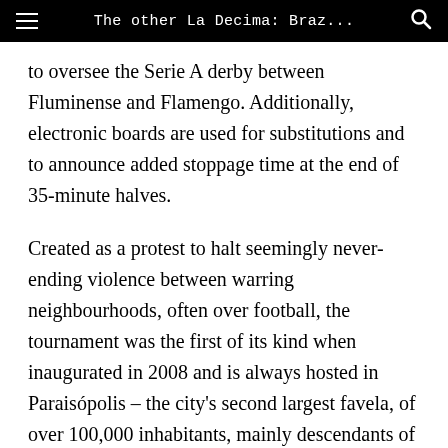The other La Decima: Braz...
to oversee the Serie A derby between Fluminense and Flamengo. Additionally, electronic boards are used for substitutions and to announce added stoppage time at the end of 35-minute halves.
Created as a protest to halt seemingly never-ending violence between warring neighbourhoods, often over football, the tournament was the first of its kind when inaugurated in 2008 and is always hosted in Paraisópolis – the city's second largest favela, of over 100,000 inhabitants, mainly descendants of Brazil's poor rural north-east – by the community's biggest team Palmeirinha at its home ground; a fenced astroturf pitch just off the bustling main street complete with a spectator stand, near which lies a